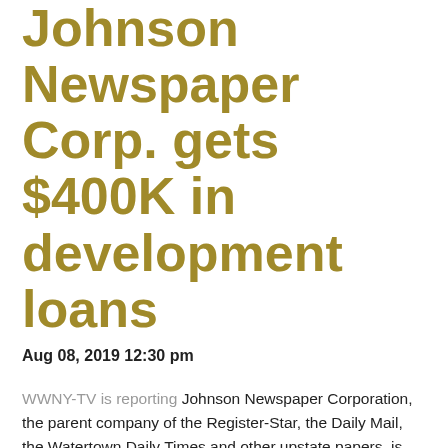Johnson Newspaper Corp. gets $400K in development loans
Aug 08, 2019 12:30 pm
WWNY-TV is reporting Johnson Newspaper Corporation, the parent company of the Register-Star, the Daily Mail, the Watertown Daily Times and other upstate papers, is getting a $400,000 loan from economic developers. The St. Lawrence County Industrial Development Agency is putting in the first $100,000, and the $300,000 balance will come from the North Country Economic Development Fund, which is administered through the Development Authority of the North Country. "We